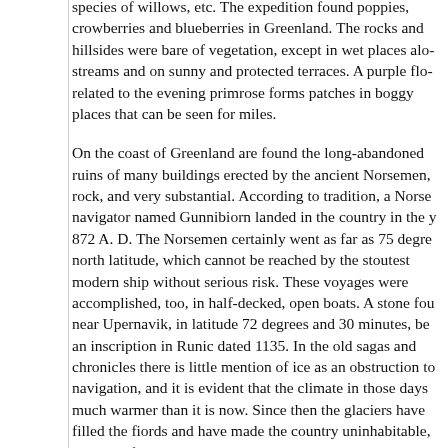species of willows, etc. The expedition found poppies, crowberries and blueberries in Greenland. The rocks and hillsides were bare of vegetation, except in wet places along streams and on sunny and protected terraces. A purple flower related to the evening primrose forms patches in boggy places that can be seen for miles.
On the coast of Greenland are found the long-abandoned ruins of many buildings erected by the ancient Norsemen, rock, and very substantial. According to tradition, a Norse navigator named Gunnibiorn landed in the country in the year 872 A. D. The Norsemen certainly went as far as 75 degrees north latitude, which cannot be reached by the stoutest modern ship without serious risk. These voyages were accomplished, too, in half-decked, open boats. A stone found near Upernavik, in latitude 72 degrees and 30 minutes, bears an inscription in Runic dated 1135. In the old sagas and chronicles there is little mention of ice as an obstruction to navigation, and it is evident that the climate in those days was much warmer than it is now. Since then the glaciers have filled the fiords and have made the country uninhabitable, save in a few spots along the coast. The aboriginal Eskimos of the region were known as Skraellings, or "Little People," by the Norsemen, who treated them barbarously. But if tradition does not lie, the Skraellings got ample revenge in the end, totally wiping out the last of the Norse colonies. They built an immense raft of boats, over which they erected a low and